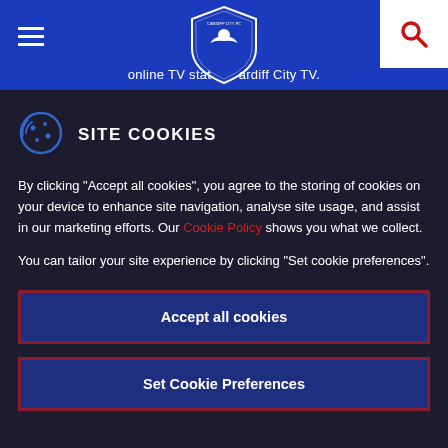online TV stat ardiff City TV.
SITE COOKIES
By clicking "Accept all cookies", you agree to the storing of cookies on your device to enhance site navigation, analyse site usage, and assist in our marketing efforts. Our Cookie Policy shows you what we collect.
You can tailor your site experience by clicking "Set cookie preferences".
Accept all cookies
Set Cookie Preferences